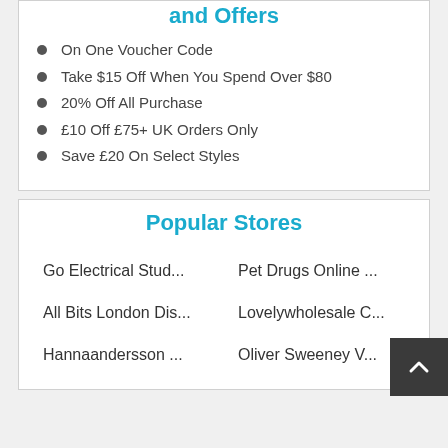and Offers
On One Voucher Code
Take $15 Off When You Spend Over $80
20% Off All Purchase
£10 Off £75+ UK Orders Only
Save £20 On Select Styles
Popular Stores
Go Electrical Stud...
Pet Drugs Online ...
All Bits London Dis...
Lovelywholesale C...
Hannaandersson ...
Oliver Sweeney V...